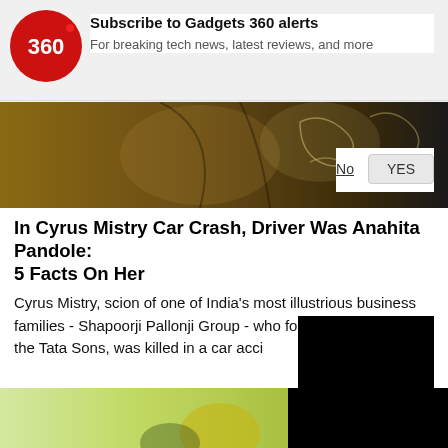[Figure (logo): Gadgets 360 circular red logo with '360' text in white]
Subscribe to Gadgets 360 alerts
For breaking tech news, latest reviews, and more
No
YES
[Figure (photo): Cropped photo of a person wearing a black patterned outfit with brown/gold tones]
In Cyrus Mistry Car Crash, Driver Was Anahita Pandole: 5 Facts On Her
Cyrus Mistry, scion of one of India's most illustrious business families - Shapoorji Pallonji Group - who formerly headed the Tata Sons, was killed in a car acci
News
[Figure (photo): Partially visible image at the bottom of the page, appears to show a yellow or colorful object on a green background, partially covered by a black rectangle]